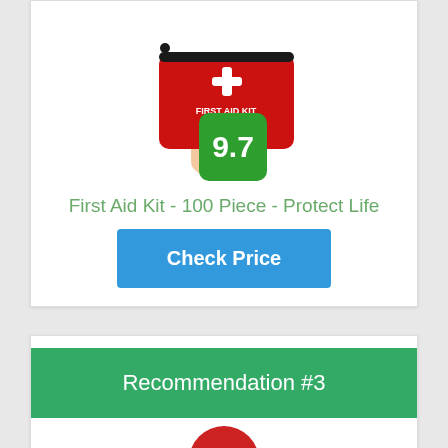[Figure (photo): A hand holding a red First Aid Kit pouch with a white cross symbol and the text 'FIRST AID KIT' on it, with a black zipper.]
9.7
First Aid Kit - 100 Piece - Protect Life
Check Price
Recommendation #3
[Figure (photo): Partial view of another product image at the bottom of the page.]